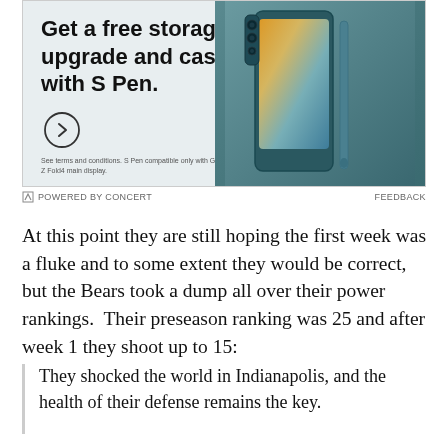[Figure (illustration): Samsung advertisement banner showing a teal/slate blue Samsung Galaxy Z Fold4 phone with S Pen case. Text reads 'Get a free storage upgrade and case with S Pen.' with a circular arrow button and fine print.]
POWERED BY CONCERT    FEEDBACK
At this point they are still hoping the first week was a fluke and to some extent they would be correct, but the Bears took a dump all over their power rankings.  Their preseason ranking was 25 and after week 1 they shoot up to 15:
They shocked the world in Indianapolis, and the health of their defense remains the key.